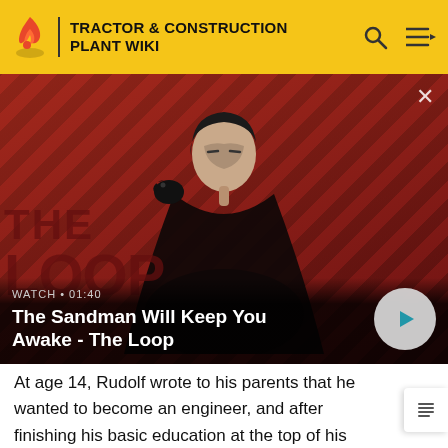TRACTOR & CONSTRUCTION PLANT WIKI
[Figure (screenshot): Video thumbnail showing a dark-cloaked figure with a raven on shoulder against a red and black diagonal striped background. Video title: 'The Sandman Will Keep You Awake - The Loop'. Duration: 01:40. Play button visible.]
WATCH • 01:40
The Sandman Will Keep You Awake - The Loop
At age 14, Rudolf wrote to his parents that he wanted to become an engineer, and after finishing his basic education at the top of his class in 1873, he enrolled at newly-founded Industrial School of Augsburg. Later, in 1875, he received a merit scholarship from the Royal Bavarian Polytechnic in Munich which he accepted